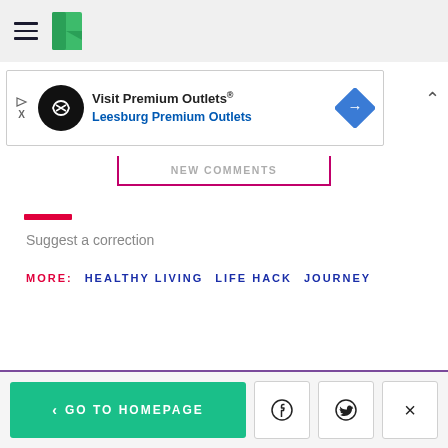[Figure (screenshot): HuffPost website top navigation bar with hamburger menu icon and HuffPost logo (green bookmark-style icon)]
[Figure (screenshot): Advertisement banner for Visit Premium Outlets / Leesburg Premium Outlets with circular logo, text, and diamond navigation sign icon]
[Figure (screenshot): Partial button with pink/magenta border at bottom showing truncated text]
Suggest a correction
MORE: HEALTHY LIVING LIFE HACK JOURNEY
[Figure (screenshot): Bottom navigation bar with teal GO TO HOMEPAGE button, Facebook icon button, Twitter icon button, and X close button]